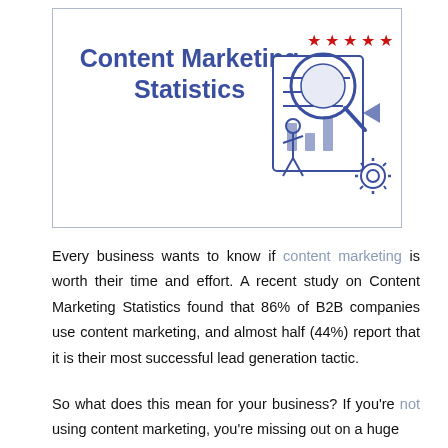Content Marketing Statistics
[Figure (illustration): Line-art illustration of a person with a magnifying glass reviewing a document/chart, with red stars and gear icons, in blue and red colors.]
Every business wants to know if content marketing is worth their time and effort. A recent study on Content Marketing Statistics found that 86% of B2B companies use content marketing, and almost half (44%) report that it is their most successful lead generation tactic.
So what does this mean for your business? If you're not using content marketing, you're missing out on a huge